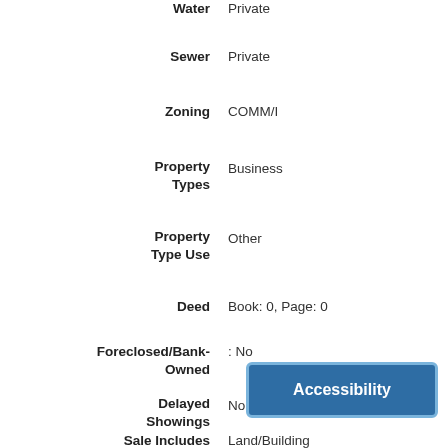Water: Private
Sewer: Private
Zoning: COMM/I
Property Types: Business
Property Type Use: Other
Deed: Book: 0, Page: 0
Foreclosed/Bank-Owned: No
Delayed Showings: No
Sale Includes: Land/Building
Accessibility